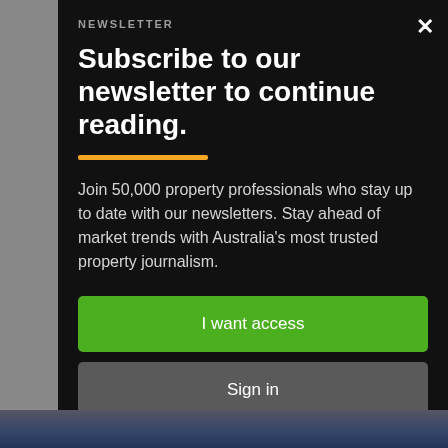NEWSLETTER
Subscribe to our newsletter to continue reading.
Join 50,000 property professionals who stay up to date with our newsletters. Stay ahead of market trends with Australia's most trusted property journalism.
I want access
Sign in